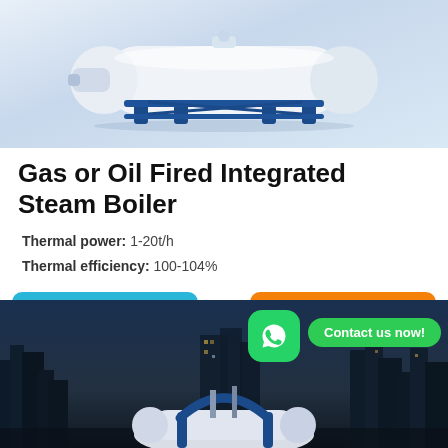[Figure (photo): Industrial gas or oil fired integrated steam boiler — white cylindrical tank on blue frame, isolated on light blue-grey background]
Gas or Oil Fired Integrated Steam Boiler
Thermal power: 1-20t/h
Thermal efficiency: 100-104%
Learn More
Get a quote
[Figure (photo): Industrial boiler/tank with blue framework in foreground, city skyline at night in background. WhatsApp icon and 'Contact us now!' button overlaid.]